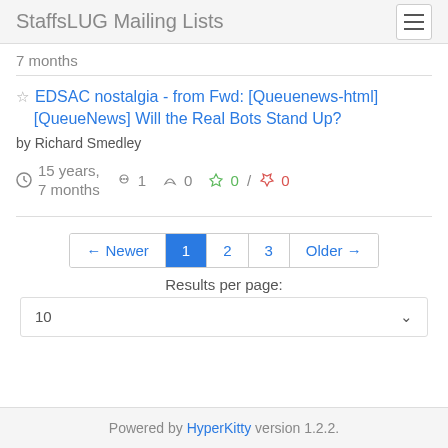StaffsLUG Mailing Lists
7 months
EDSAC nostalgia - from Fwd: [Queuenews-html] [QueueNews] Will the Real Bots Stand Up?
by Richard Smedley
15 years, 7 months  1  0  0 / 0
← Newer  1  2  3  Older →
Results per page:
10
Powered by HyperKitty version 1.2.2.